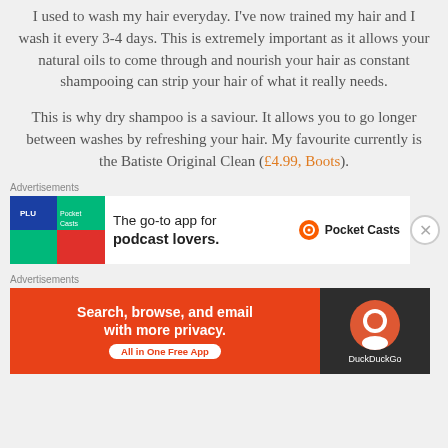I used to wash my hair everyday. I've now trained my hair and I wash it every 3-4 days. This is extremely important as it allows your natural oils to come through and nourish your hair as constant shampooing can strip your hair of what it really needs.
This is why dry shampoo is a saviour. It allows you to go longer between washes by refreshing your hair. My favourite currently is the Batiste Original Clean (£4.99, Boots).
[Figure (screenshot): Advertisement banner: Pocket Casts - The go-to app for podcast lovers]
[Figure (screenshot): Advertisement banner: DuckDuckGo - Search, browse, and email with more privacy. All in One Free App]